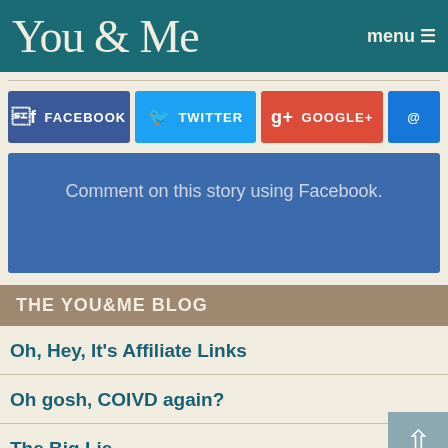You & Me | menu
[Figure (other): Social sharing buttons: Facebook, Twitter, Google+, and email (@ symbol)]
Comment on this story using Facebook.
THE YOU&ME BLOG
Oh, Hey, It's Affiliate Links
Oh gosh, COIVD again?
The Big Lie
Nice White Countries